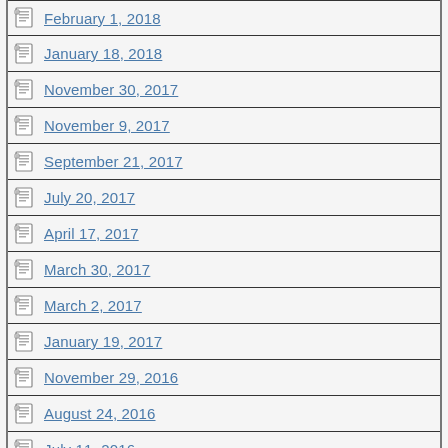February 1, 2018
January 18, 2018
November 30, 2017
November 9, 2017
September 21, 2017
July 20, 2017
April 17, 2017
March 30, 2017
March 2, 2017
January 19, 2017
November 29, 2016
August 24, 2016
July 11, 2016